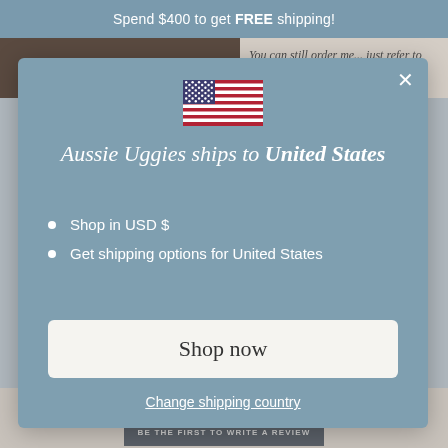Spend $400 to get FREE shipping!
[Figure (screenshot): Background page with product image and italic text 'You can still order me... just refer to']
[Figure (illustration): US flag SVG illustration]
Aussie Uggies ships to United States
Shop in USD $
Get shipping options for United States
Shop now
Change shipping country
BE THE FIRST TO WRITE A REVIEW